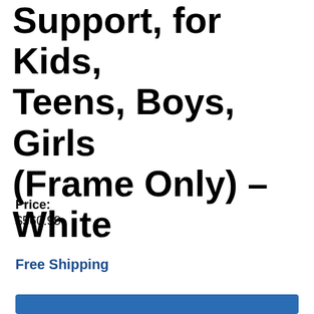Support, for Kids, Teens, Boys, Girls (Frame Only) – White
Price:
$560.99
Free Shipping